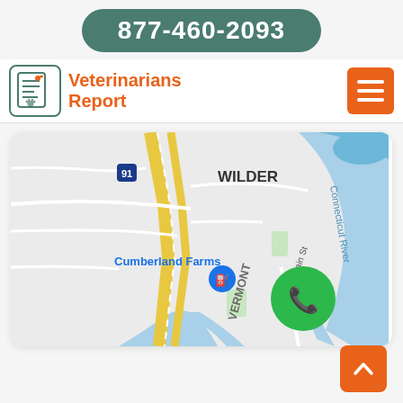877-460-2093
[Figure (logo): Veterinarians Report logo with icon and text]
[Figure (map): Google Maps view showing Wilder area with Connecticut River, Cumberland Farms, Interstate 91, Vermont/New Hampshire border, and a green phone call button overlay]
[Figure (other): Orange scroll-to-top button with upward chevron arrow]